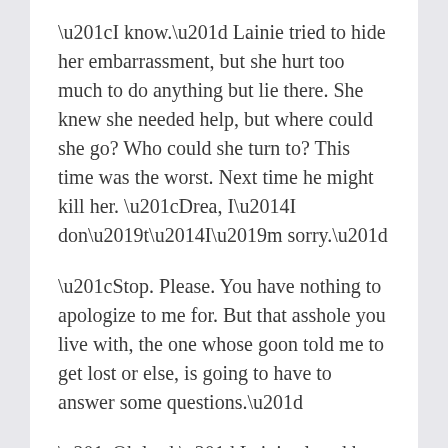“I know.” Lainie tried to hide her embarrassment, but she hurt too much to do anything but lie there. She knew she needed help, but where could she go? Who could she turn to? This time was the worst. Next time he might kill her. “Drea, I—I don’t—I’m sorry.”
“Stop. Please. You have nothing to apologize to me for. But that asshole you live with, the one whose goon told me to get lost or else, is going to have to answer some questions.”
“Oh lord.” Lainie closed her good eye. “Please tell me he’s not here.”
“He’s not here. But, Lainie, you can’t go back to that house. I’m afraid he’ll kill you.”
“You’re right, but I don’t know what to do,” she whispered. “I have no one to go to, no one to help me